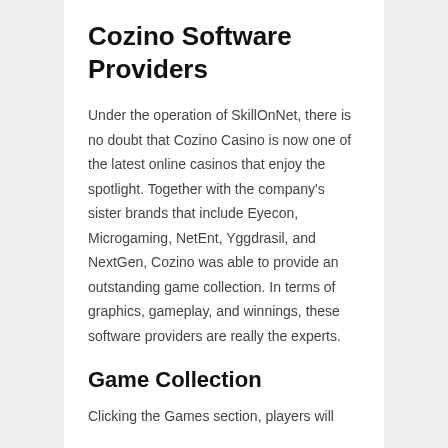Cozino Software Providers
Under the operation of SkillOnNet, there is no doubt that Cozino Casino is now one of the latest online casinos that enjoy the spotlight. Together with the company's sister brands that include Eyecon, Microgaming, NetEnt, Yggdrasil, and NextGen, Cozino was able to provide an outstanding game collection. In terms of graphics, gameplay, and winnings, these software providers are really the experts.
Game Collection
Clicking the Games section, players will